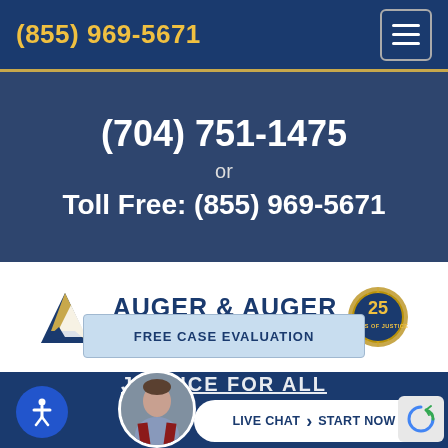(855) 969-5671
(704) 751-1475
or
Toll Free: (855) 969-5671
[Figure (logo): Auger & Auger Personal Injury Lawyers logo with triangular A icon in blue and gold, and 25 Years of Justice badge]
FREE CASE EVALUATION
JUSTICE FOR ALL
LIVE CHAT  START NOW